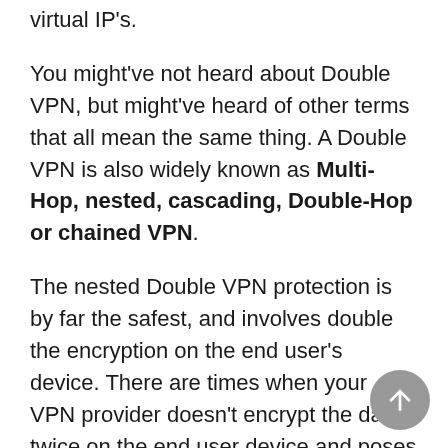virtual IP's.
You might've not heard about Double VPN, but might've heard of other terms that all mean the same thing. A Double VPN is also widely known as Multi-Hop, nested, cascading, Double-Hop or chained VPN.
The nested Double VPN protection is by far the safest, and involves double the encryption on the end user's device. There are times when your VPN provider doesn't encrypt the data twice on the end user device and poses as a vulnerability considering that only a single layer of encryption is added. Apart from this, chained VPN or cascading is when you add more servers to the already linked